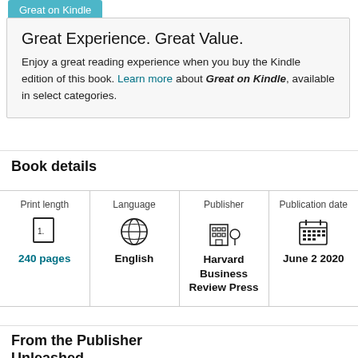Great on Kindle
Great Experience. Great Value.
Enjoy a great reading experience when you buy the Kindle edition of this book. Learn more about Great on Kindle, available in select categories.
Book details
| Print length | Language | Publisher | Publication date |
| --- | --- | --- | --- |
| 240 pages | English | Harvard Business Review Press | June 2 2020 |
From the Publisher
Unleashed